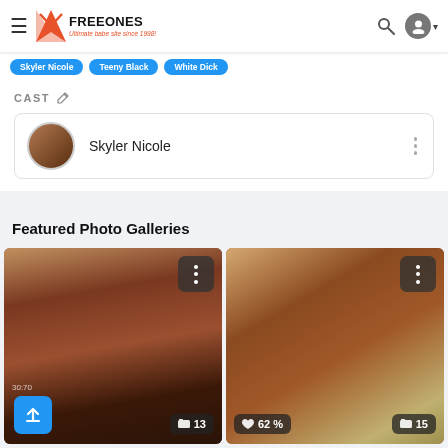FreeOnes - Ultimate babe site since 1998!
Skyler Nicole
Teeny Black
White Dick
CAST
Skyler Nicole
Featured Photo Galleries
[Figure (photo): Photo gallery thumbnail showing a woman on a bed, with upload button and count badge showing 13]
[Figure (photo): Photo gallery thumbnail showing explicit adult content, with like badge showing 62% and count badge showing 15]